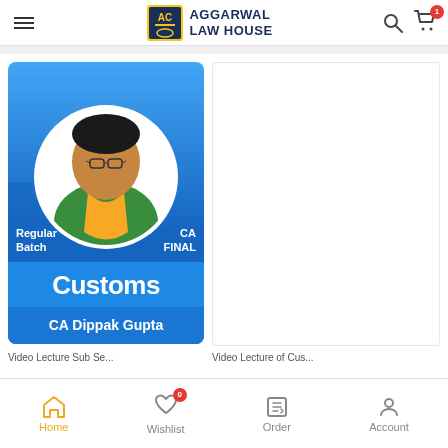Aggarwal Law House
[Figure (screenshot): Product card for CA Final Customs Regular Batch by CA Dippak Gupta — blue card with instructor photo in circular frame, text 'Regular Batch', 'CA FINAL', 'Customs', 'CA Dippak Gupta']
[Figure (other): Second product card (blank/white area visible)]
Home  Wishlist 0  Order  Account